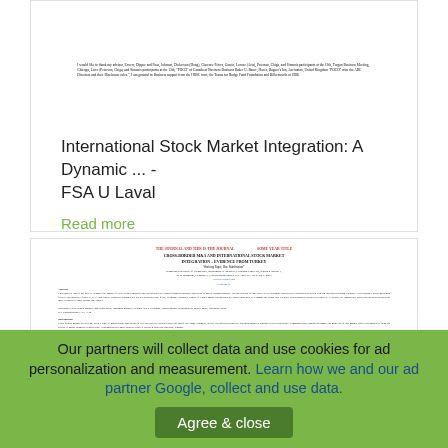[Figure (screenshot): Blurred/small text from an academic paper page, showing dense paragraph text]
International Stock Market Integration: A Dynamic ... - FSA U Laval
Read more
[Figure (screenshot): Preview of academic paper: CROSS-BORDER M&A AND INTERNATIONAL STOCK MARKET INTEGRATION - EVIDENCE FROM TURKEY, showing title, authors, affiliations, abstract and introduction text]
Our partners will collect data and use cookies for ad personalization and measurement. Learn how we and our ad partner Google, collect and use data. Agree & close